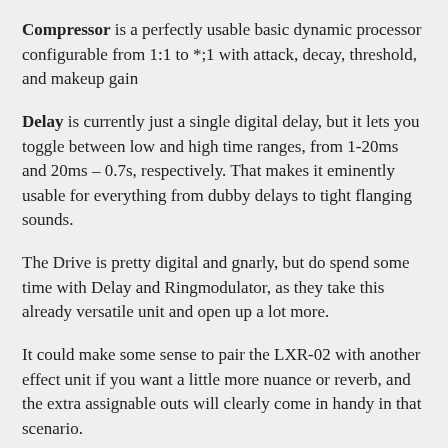Compressor is a perfectly usable basic dynamic processor configurable from 1:1 to *;1 with attack, decay, threshold, and makeup gain
Delay is currently just a single digital delay, but it lets you toggle between low and high time ranges, from 1-20ms and 20ms – 0.7s, respectively. That makes it eminently usable for everything from dubby delays to tight flanging sounds.
The Drive is pretty digital and gnarly, but do spend some time with Delay and Ringmodulator, as they take this already versatile unit and open up a lot more.
It could make some sense to pair the LXR-02 with another effect unit if you want a little more nuance or reverb, and the extra assignable outs will clearly come in handy in that scenario.